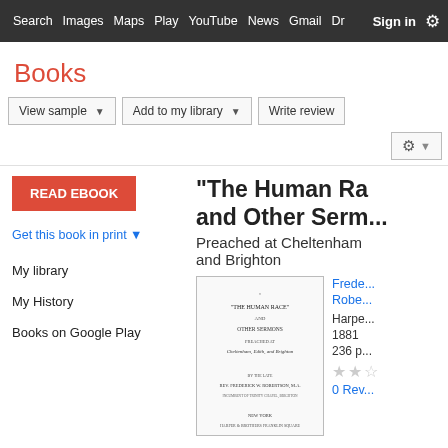Search  Images  Maps  Play  YouTube  News  Gmail  Dr  Sign in  More  [gear]
Books
View sample ▾  Add to my library ▾  Write review
READ EBOOK
Get this book in print ▼
My library
My History
Books on Google Play
"The Human Race and Other Serm...
Preached at Cheltenham and Brighton
[Figure (illustration): Book cover/title page thumbnail showing '"THE HUMAN RACE" AND OTHER SERMONS PREACHED AT Cheltenham, Edith, and Brighton BY THE LATE REV. FREDERICK W. ROBERTSON, M.A. NEW YORK HARPER & BROTHERS FRANKLIN SQUARE']
Frede... Robe...
Harpe...
1881
236 p...
★★☆
0 Rev...